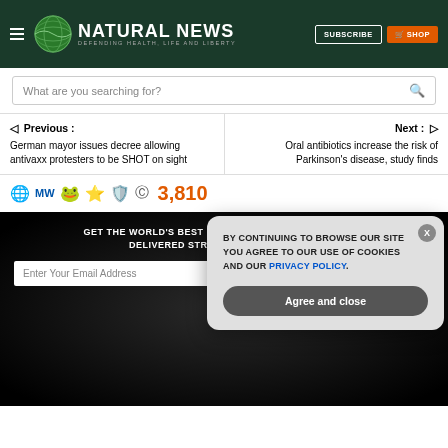NATURAL NEWS — DEFENDING HEALTH, LIFE AND LIBERTY
What are you searching for?
◁ Previous : German mayor issues decree allowing antivaxx protesters to be SHOT on sight
Next : ▷ Oral antibiotics increase the risk of Parkinson's disease, study finds
3,810
GET THE WORLD'S BEST NATURAL HEALTH NEWSLETTER DELIVERED STRAIGHT TO YOUR INBOX
Enter Your Email Address
SUBSCRIBE
BY CONTINUING TO BROWSE OUR SITE YOU AGREE TO OUR USE OF COOKIES AND OUR PRIVACY POLICY.
Agree and close